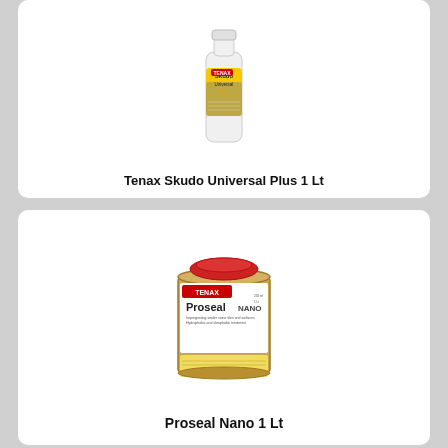[Figure (photo): Tenax Skudo Universal Plus 1 Lt product bottle — white plastic bottle with yellow and grey label]
Tenax Skudo Universal Plus 1 Lt
[Figure (photo): Proseal Nano 1 Lt product — metal tin can with red cap, yellow and white label showing Tenax Proseal NANO branding]
Proseal Nano 1 Lt